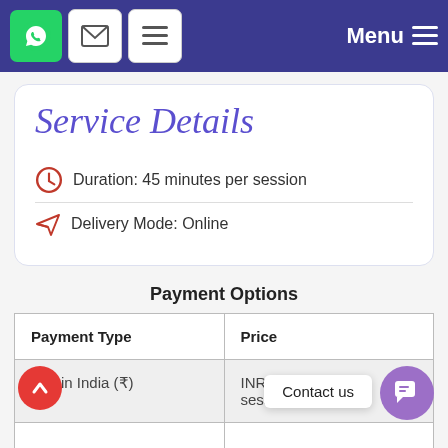Menu
Service Details
Duration: 45 minutes per session
Delivery Mode: Online
Payment Options
| Payment Type | Price |
| --- | --- |
| Within India (₹) | INR ___
session |